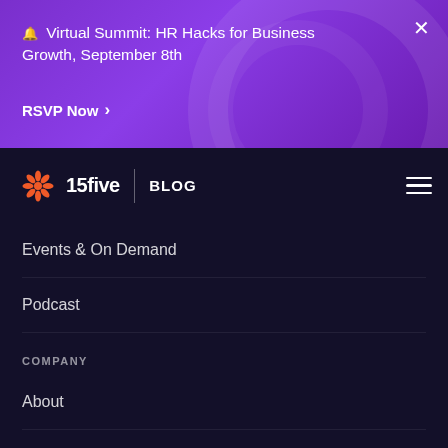🔔 Virtual Summit: HR Hacks for Business Growth, September 8th
RSVP Now →
[Figure (logo): 15five logo with orange floral/snowflake icon and white wordmark, followed by BLOG text and hamburger menu icon on dark navy background]
Events & On Demand
Podcast
COMPANY
About
Careers
Refer a Friend